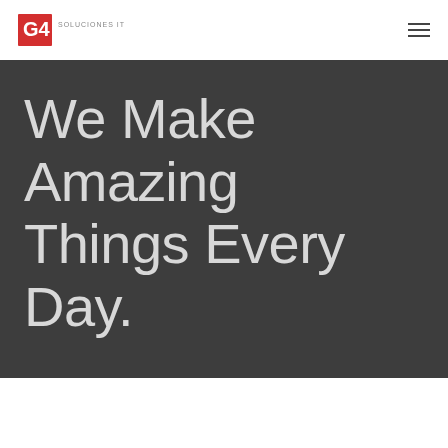[Figure (logo): G4 Soluciones IT logo — red square with white G4 text, followed by 'SOLUCIONES IT' text in grey]
We Make Amazing Things Every Day.